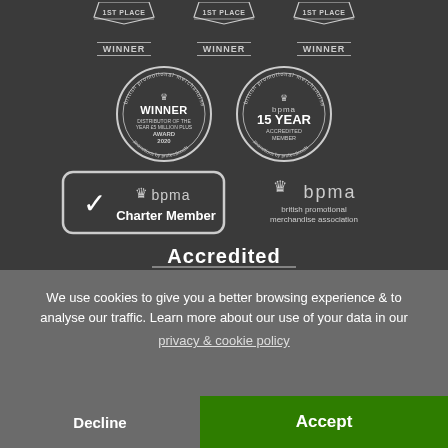[Figure (logo): Three 1ST PLACE WINNER badge icons in a row at top]
[Figure (logo): BPMA circular seal: WINNER Distributor of the Year £5 Million Plus Award 2020, and BPMA 15 Year Accredited Member circular seal]
[Figure (logo): BPMA Charter Member badge (rounded rectangle with checkmark) and BPMA british promotional merchandise association logo]
[Figure (logo): Accredited member badge with decorative triple-chevron mark]
We use cookies to give you a better browsing experience & to analyse our traffic. Learn more about our use of your data in our
privacy & cookie policy
Decline
Accept